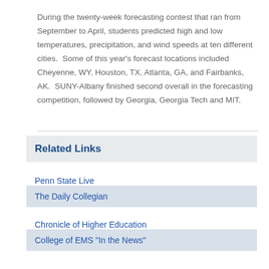During the twenty-week forecasting contest that ran from September to April, students predicted high and low temperatures, precipitation, and wind speeds at ten different cities.  Some of this year's forecast locations included  Cheyenne, WY, Houston, TX, Atlanta, GA, and Fairbanks, AK.  SUNY-Albany finished second overall in the forecasting competition, followed by Georgia, Georgia Tech and MIT.
Related Links
Penn State Live
The Daily Collegian
Chronicle of Higher Education
College of EMS "In the News"